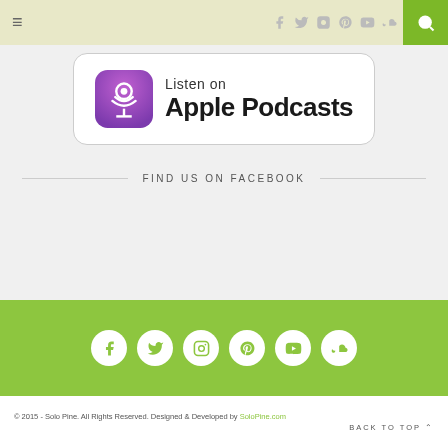Navigation bar with hamburger menu, social icons, and search button
[Figure (logo): Listen on Apple Podcasts badge with purple podcast icon]
FIND US ON FACEBOOK
[Figure (other): Green footer bar with six white circular social media icons: Facebook, Twitter, Instagram, Pinterest, YouTube, SoundCloud]
© 2015 - Solo Pine. All Rights Reserved. Designed & Developed by SoloPine.com    BACK TO TOP ∧